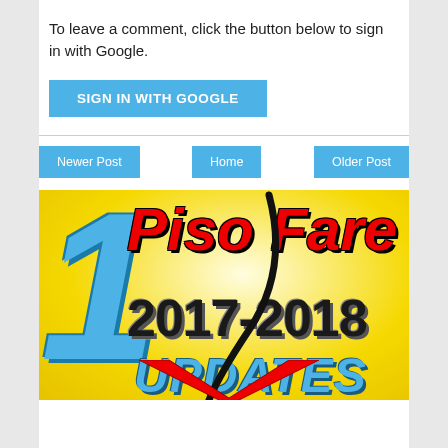To leave a comment, click the button below to sign in with Google.
SIGN IN WITH GOOGLE
Newer Post
Home
Older Post
[Figure (illustration): Promotional banner for '1 Piso Fare 2017-2018 UPDATES' with a large blue number 1 on a yellow background, red bold text 'Piso Fare', black bold text '2017-2018', cyan bold italic text 'UPDATES', and a curved arrow graphic with red chevron at bottom.]